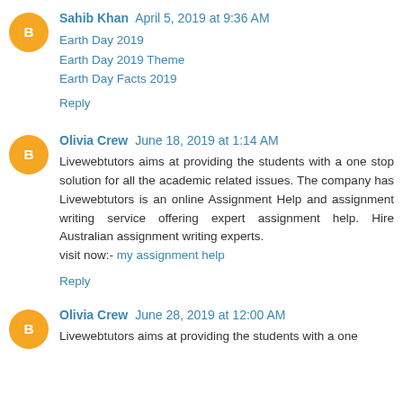Sahib Khan  April 5, 2019 at 9:36 AM
Earth Day 2019
Earth Day 2019 Theme
Earth Day Facts 2019
Reply
Olivia Crew  June 18, 2019 at 1:14 AM
Livewebtutors aims at providing the students with a one stop solution for all the academic related issues. The company has Livewebtutors is an online Assignment Help and assignment writing service offering expert assignment help. Hire Australian assignment writing experts.
visit now:- my assignment help
Reply
Olivia Crew  June 28, 2019 at 12:00 AM
Livewebtutors aims at providing the students with a one